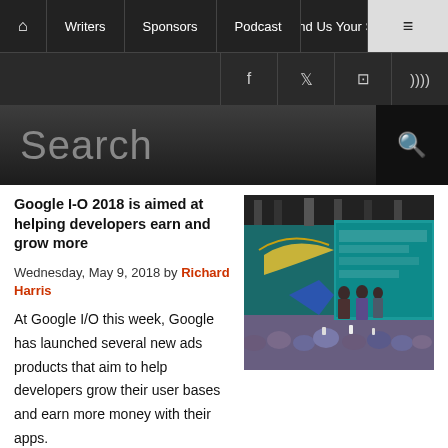Home | Writers | Sponsors | Podcast | Send Us Your Story | Menu
Social icons: Facebook, Twitter, Instagram, RSS
Search
Google I-O 2018 is aimed at helping developers earn and grow more
Wednesday, May 9, 2018 by Richard Harris
[Figure (photo): Photo of Google I/O 2018 event on stage with presenters and audience, colorful display screen visible in background]
At Google I/O this week, Google has launched several new ads products that aim to help developers grow their user bases and earn more money with their apps.Along the same lines, there have been several updates and new features for AdWords (Universal App Campaigns), AdMob,